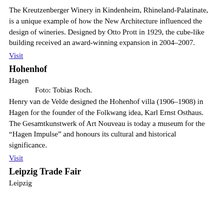The Kreutzenberger Winery in Kindenheim, Rhineland-Palatinate, is a unique example of how the New Architecture influenced the design of wineries. Designed by Otto Prott in 1929, the cube-like building received an award-winning expansion in 2004–2007.
Visit
Hohenhof
Hagen
Foto: Tobias Roch.
Henry van de Velde designed the Hohenhof villa (1906–1908) in Hagen for the founder of the Folkwang idea, Karl Ernst Osthaus. The Gesamtkunstwerk of Art Nouveau is today a museum for the “Hagen Impulse” and honours its cultural and historical significance.
Visit
Leipzig Trade Fair
Leipzig